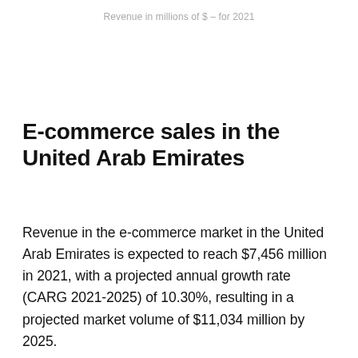Revenue in millions of $ – for 2021
E-commerce sales in the United Arab Emirates
Revenue in the e-commerce market in the United Arab Emirates is expected to reach $7,456 million in 2021, with a projected annual growth rate (CARG 2021-2025) of 10.30%, resulting in a projected market volume of $11,034 million by 2025.